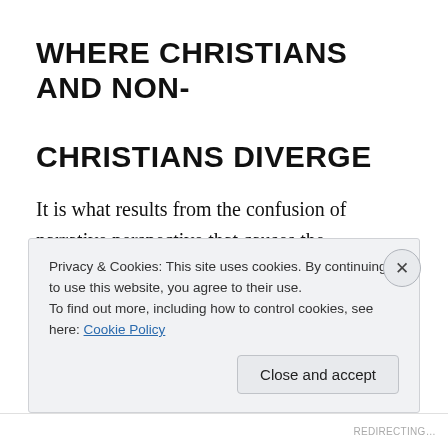WHERE CHRISTIANS AND NON-CHRISTIANS DIVERGE
It is what results from the confusion of narrative perspective that causes the disagreement between Christians and non-Christians. Christians insist the non-Christian is putting him or herself in the impossible position of an omniscient 3rd person narrator. This is Keller's point when he (somewhat sloppily) answers the
Privacy & Cookies: This site uses cookies. By continuing to use this website, you agree to their use.
To find out more, including how to control cookies, see here: Cookie Policy